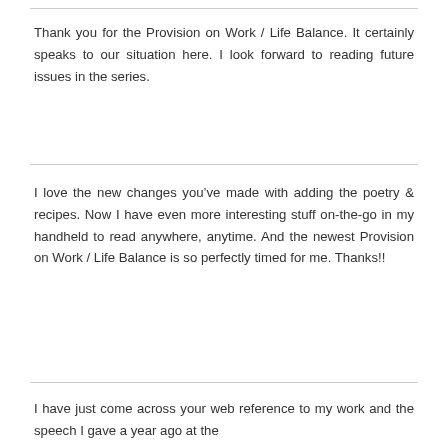Thank you for the Provision on Work / Life Balance. It certainly speaks to our situation here. I look forward to reading future issues in the series.
I love the new changes you've made with adding the poetry & recipes. Now I have even more interesting stuff on-the-go in my handheld to read anywhere, anytime. And the newest Provision on Work / Life Balance is so perfectly timed for me. Thanks!!
I have just come across your web reference to my work and the speech I gave a year ago at the